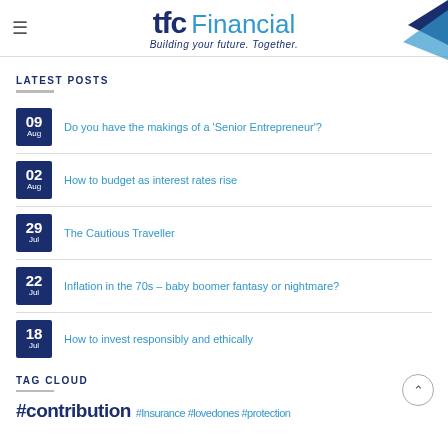tfc Financial – Building your future. Together.
LATEST POSTS
09 Aug – Do you have the makings of a 'Senior Entrepreneur'?
02 Aug – How to budget as interest rates rise
29 Jul – The Cautious Traveller
22 Jul – Inflation in the 70s – baby boomer fantasy or nightmare?
18 Jul – How to invest responsibly and ethically
TAG CLOUD
#contribution #Insurance #lovedones #protection